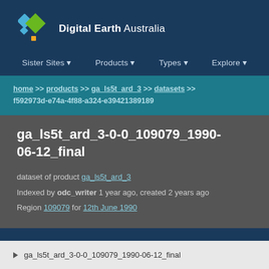[Figure (logo): Digital Earth Australia logo with diamond shapes in blue, green, and yellow]
Digital Earth Australia
Sister Sites ▾  Products ▾  Types ▾  Explore ▾
home >> products >> ga_ls5t_ard_3 >> datasets >> f592973d-e74a-4f88-a324-e39421389189
ga_ls5t_ard_3-0-0_109079_1990-06-12_final
dataset of product ga_ls5t_ard_3
Indexed by odc_writer 1 year ago, created 2 years ago
Region 109079 for 12th June 1990
▶ ga_ls5t_ard_3-0-0_109079_1990-06-12_final